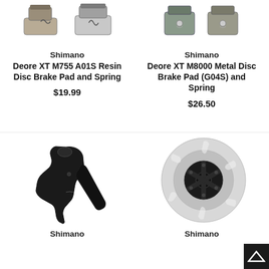[Figure (photo): Shimano brake pad product photo - resin disc brake pad and spring]
Shimano
Deore XT M755 A01S Resin Disc Brake Pad and Spring
$19.99
[Figure (photo): Shimano brake pad product photo - metal disc brake pad G04S and spring]
Shimano
Deore XT M8000 Metal Disc Brake Pad (G04S) and Spring
$26.50
[Figure (photo): Shimano brake lever product photo]
Shimano
[Figure (photo): Shimano disc rotor product photo]
Shimano